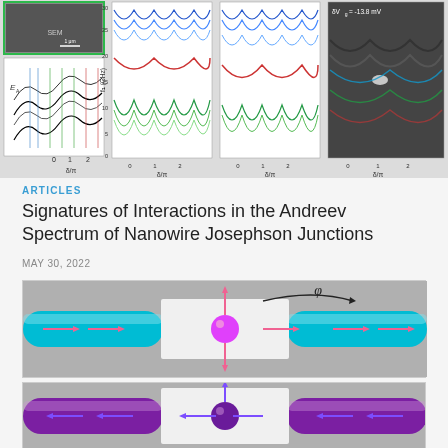[Figure (continuous-plot): Composite scientific figure showing: top-left SEM image of nanowire junction (1μm scale bar), below it a panel showing Andreev energy levels (E_A) vs phase (δ/π) with colored vertical lines, and three panels showing frequency f_1 (GHz, range 0-30) vs δ/π with multiple colored oscillating curves (blue, red, green), plus a false-color experimental data panel with label δV_g = -13.8 mV. All panels share x-axis label δ/π.]
ARTICLES
Signatures of Interactions in the Andreev Spectrum of Nanowire Josephson Junctions
MAY 30, 2022
[Figure (illustration): Schematic diagram of a nanowire Josephson junction (top panel): cyan/blue nanowire tubes connected through a white junction region containing a magenta sphere (electron/hole) with pink arrows pointing outward and rightward along the wire, indicating current flow. A curved black arrow and φ label indicate the superconducting phase difference.]
[Figure (illustration): Schematic diagram of a nanowire Josephson junction (bottom panel, partial): Similar to top panel but with purple/blue coloring, purple sphere, and arrows pointing leftward (reversed current direction).]